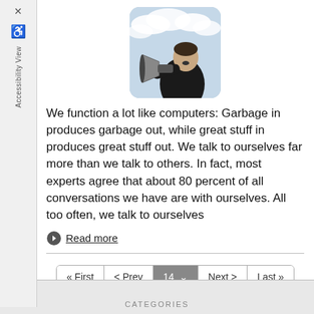[Figure (photo): Man in black hoodie shouting through a large megaphone/bullhorn against a cloudy sky background]
We function a lot like computers: Garbage in produces garbage out, while great stuff in produces great stuff out. We talk to ourselves far more than we talk to others. In fact, most experts agree that about 80 percent of all conversations we have are with ourselves. All too often, we talk to ourselves
Read more
CATEGORIES